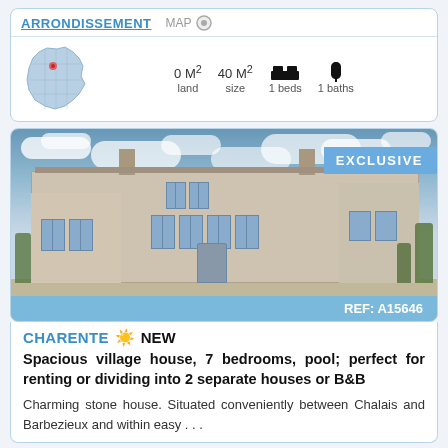ARRONDISSEMENT | MAP
[Figure (map): Map of France with a region highlighted in red/pink in the north-central area]
0 M² land | 40 M² size | 1 beds | 1 baths
[Figure (photo): Photo of a large stone village house with blue shutters, under a cloudy sky. An EXCLUSIVE badge is in the top right corner and REF: A15646 is shown at the bottom.]
CHARENTE ☀ NEW
Spacious village house, 7 bedrooms, pool; perfect for renting or dividing into 2 separate houses or B&B
Charming stone house. Situated conveniently between Chalais and Barbezieux and within easy . . .